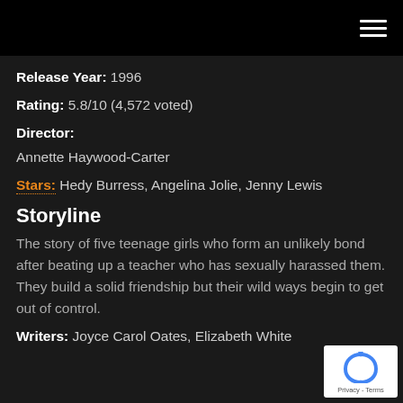[Figure (other): Black top navigation bar with hamburger menu icon (three horizontal white lines) in top-right corner]
Release Year: 1996
Rating: 5.8/10 (4,572 voted)
Director:
Annette Haywood-Carter
Stars: Hedy Burress, Angelina Jolie, Jenny Lewis
Storyline
The story of five teenage girls who form an unlikely bond after beating up a teacher who has sexually harassed them. They build a solid friendship but their wild ways begin to get out of control.
Writers: Joyce Carol Oates, Elizabeth White
[Figure (logo): Google reCAPTCHA badge with recycling-style arrow icon and 'Privacy - Terms' text]